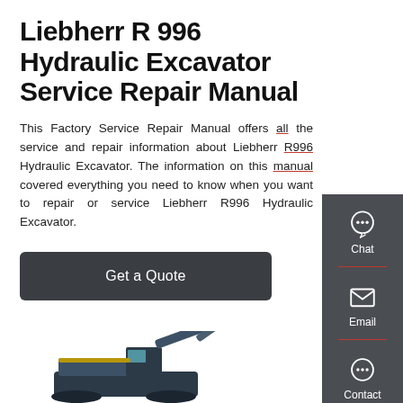Liebherr R 996 Hydraulic Excavator Service Repair Manual
This Factory Service Repair Manual offers all the service and repair information about Liebherr R996 Hydraulic Excavator. The information on this manual covered everything you need to know when you want to repair or service Liebherr R996 Hydraulic Excavator.
[Figure (other): Get a Quote button — dark gray rounded rectangle button with white text]
[Figure (infographic): Side panel with Chat, Email, and Contact icons on dark gray background]
[Figure (photo): Partial photo of Liebherr R996 hydraulic excavator at bottom of page]